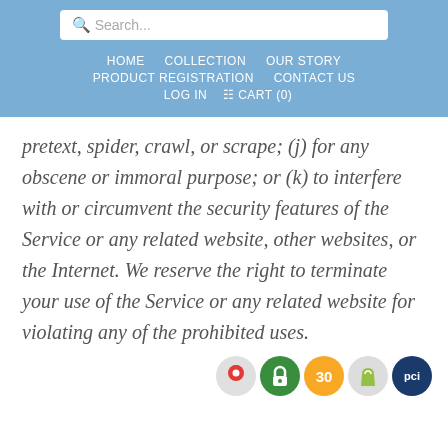Search... HOME COLLECTION OUR STORY PRODUCT REGISTRATION CONTACT US LOG IN CART (0)
pretext, spider, crawl, or scrape; (j) for any obscene or immoral purpose; or (k) to interfere with or circumvent the security features of the Service or any related website, other websites, or the Internet. We reserve the right to terminate your use of the Service or any related website for violating any of the prohibited uses.
[Figure (other): Row of five circular badge icons: Google Maps pin icon, green padlock security icon, yellow '30' badge, Shopify bag icon, blue PCI compliance badge]